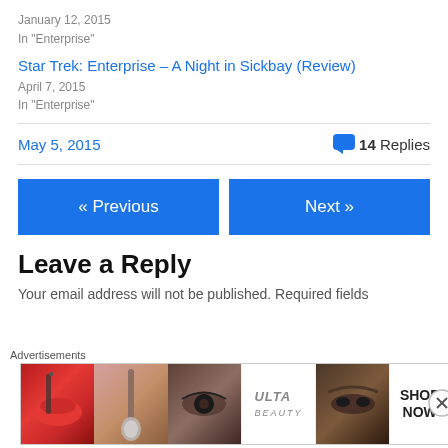January 12, 2015
In "Enterprise"
Star Trek: Enterprise – A Night in Sickbay (Review)
April 7, 2015
In "Enterprise"
May 5, 2015 · 14 Replies
« Previous
Next »
Leave a Reply
Your email address will not be published. Required fields
[Figure (other): Ulta Beauty advertisement banner with makeup imagery including lips, brush, eye, Ulta logo, eyebrows, and SHOP NOW text]